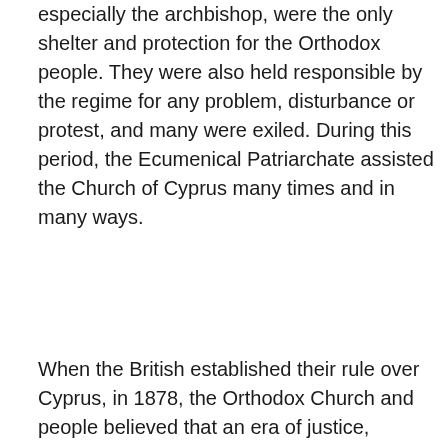especially the archbishop, were the only shelter and protection for the Orthodox people. They were also held responsible by the regime for any problem, disturbance or protest, and many were exiled. During this period, the Ecumenical Patriarchate assisted the Church of Cyprus many times and in many ways.
When the British established their rule over Cyprus, in 1878, the Orthodox Church and people believed that an era of justice, prosperity and modernization would begin, and that the British would allow the fulfillment of the national dream, the union (enosis) of Cyprus with motherland Greece. Unfortunately, nothing of that happened. After a spontaneous protest in 1931, which was violently repressed, the struggle for liberation began in 1955, organized, financed and guided by the Orthodox Church. Archbishop Makarios III, following the long tradition of ethnarchy, was the political leader of the